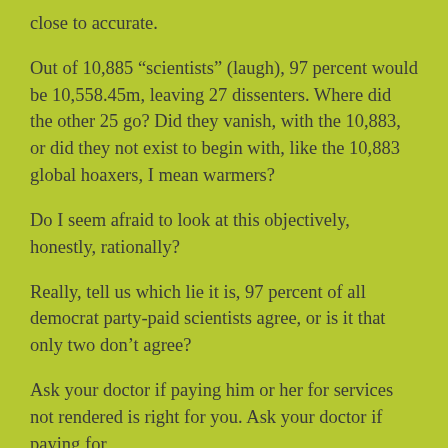close to accurate.
Out of 10,885 “scientists” (laugh), 97 percent would be 10,558.45m, leaving 27 dissenters. Where did the other 25 go? Did they vanish, with the 10,883, or did they not exist to begin with, like the 10,883 global hoaxers, I mean warmers?
Do I seem afraid to look at this objectively, honestly, rationally?
Really, tell us which lie it is, 97 percent of all democrat party-paid scientists agree, or is it that only two don’t agree?
Ask your doctor if paying him or her for services not rendered is right for you. Ask your doctor if paying for